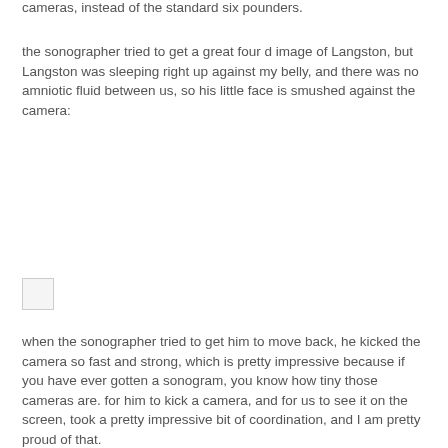cameras, instead of the standard six pounders.
the sonographer tried to get a great four d image of Langston, but Langston was sleeping right up against my belly, and there was no amniotic fluid between us, so his little face is smushed against the camera:
[Figure (photo): Small image placeholder/thumbnail, appears to be a loading or broken image icon]
when the sonographer tried to get him to move back, he kicked the camera so fast and strong, which is pretty impressive because if you have ever gotten a sonogram, you know how tiny those cameras are. for him to kick a camera, and for us to see it on the screen, took a pretty impressive bit of coordination, and I am pretty proud of that.
[Figure (photo): A photo of two people (a shorter blonde woman and a taller man in a white shirt) standing together indoors in what appears to be a kitchen or room with light-colored walls and a ceiling light fixture.]